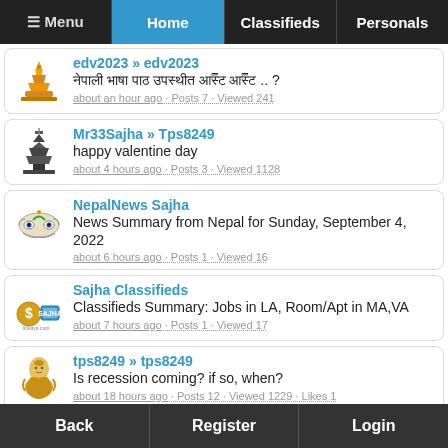≡ Menu | Home | Classifieds | Personals
edv2023 » edv2023 | [Nepali text] .. ? | about an hour ago · Posts 7 · Viewed 241
Mr33Sajha » Tps8249 | happy valentine day | about 4 hours ago · Posts 3 · Viewed 1128
NepalNews Sajha | News Summary from Nepal for Sunday, September 4, 2022 | about 6 hours ago · Posts 1 · Viewed 16
Sajha Classifieds | Classifieds Summary: Jobs in LA, Room/Apt in MA,VA | about 7 hours ago · Posts 1 · Viewed 17
tps8249 » tps8249 | Is recession coming? if so, when? | about 18 hours ago · Posts 12 · Viewed 1229 · Likes 1
Back | Register | Login